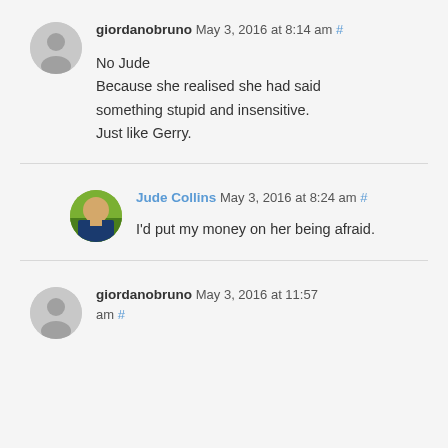giordanobruno May 3, 2016 at 8:14 am #
No Jude
Because she realised she had said something stupid and insensitive.
Just like Gerry.
Jude Collins May 3, 2016 at 8:24 am #
I'd put my money on her being afraid.
giordanobruno May 3, 2016 at 11:57 am #